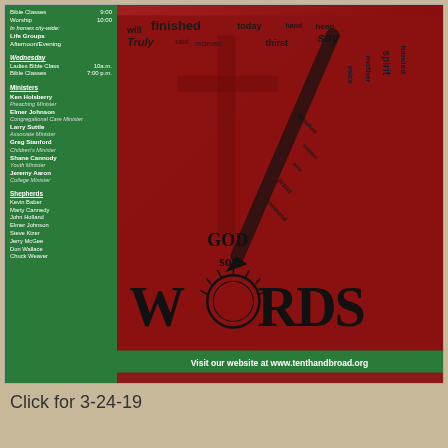[Figure (infographic): Church bulletin cover with left green sidebar listing schedules and ministers, and a large red background image with word cloud and 'WORDS' title text. Crown of thorns forms the 'O' in WORDS.]
Bible Classes  9:00
Worship  10:00
In homes city-wide:
Life Groups
Afternoon/Evening
Wednesday
Ladies Bible Class  10a.m.
Bible Classes  7:00 p.m.
Ministers
Ken Holsberry
Preaching Minister
Elmer Johnson
Congregational Care Minister
Larry Suttle
Associate Minister
Greg Stanford
Children's Minister
Shane Cannody
Youth Minister
Jeremy Aaron
College Minister
Shepherds
Kevin Baber
Marty Cannedy
John Holland
Elmer Johnson
Steve Kizer
Jerry McGee
Don Wallace
Chuck Weaver
Visit our website at www.tenthandbroad.org
Click for 3-24-19